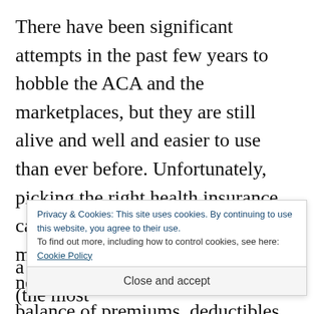There have been significant attempts in the past few years to hobble the ACA and the marketplaces, but they are still alive and well and easier to use than ever before. Unfortunately, picking the right health insurance can still be a serious challenge, no matter your education level. You need to understand the delicate balance of premiums, deductibles, other
Privacy & Cookies: This site uses cookies. By continuing to use this website, you agree to their use. To find out more, including how to control cookies, see here: Cookie Policy
Close and accept
a new medication could be a Tier 3 (the most